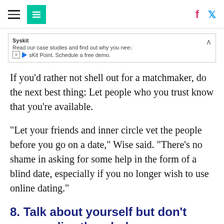HuffPost navigation with hamburger menu, logo, Facebook and Twitter icons
[Figure (screenshot): Advertisement banner for Syskit: 'Read our case studies and find out why you need sKit Point. Schedule a free demo.']
If you’d rather not shell out for a matchmaker, do the next best thing: Let people who you trust know that you’re available.
“Let your friends and inner circle vet the people before you go on a date,” Wise said. “There’s no shame in asking for some help in the form of a blind date, especially if you no longer wish to use online dating.”
8. Talk about yourself but don’t monopolize the whole